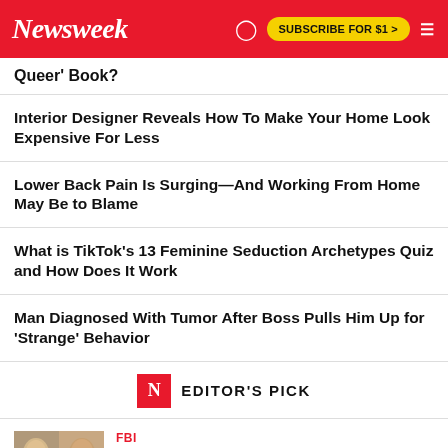Newsweek — SUBSCRIBE FOR $1 >
Queer' Book?
Interior Designer Reveals How To Make Your Home Look Expensive For Less
Lower Back Pain Is Surging—And Working From Home May Be to Blame
What is TikTok's 13 Feminine Seduction Archetypes Quiz and How Does It Work
Man Diagnosed With Tumor After Boss Pulls Him Up for 'Strange' Behavior
EDITOR'S PICK
FBI
Biden Steers Clear Of Trump For Now, But Reckoning May Be Unavoidable